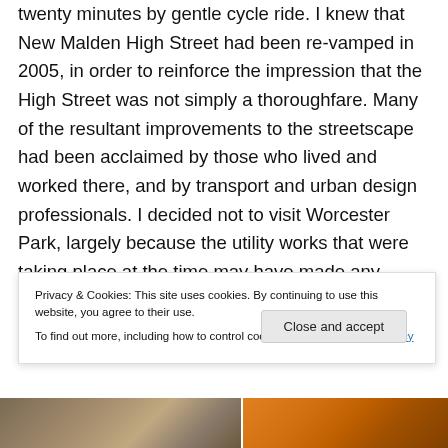twenty minutes by gentle cycle ride. I knew that New Malden High Street had been re-vamped in 2005, in order to reinforce the impression that the High Street was not simply a thoroughfare. Many of the resultant improvements to the streetscape had been acclaimed by those who lived and worked there, and by transport and urban design professionals. I decided not to visit Worcester Park, largely because the utility works that were taking place at the time may have made any comparative assessment with other locations a little unfair. I was also
Privacy & Cookies: This site uses cookies. By continuing to use this website, you agree to their use.
To find out more, including how to control cookies, see here: Cookie Policy
Close and accept
[Figure (photo): Bottom strip showing two partial photos: left shows buildings on a street, right shows a red building or shop front]